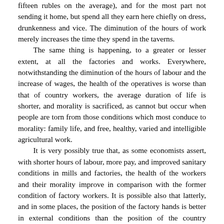fifteen rubles on the average), and for the most part not sending it home, but spend all they earn here chiefly on dress, drunkenness and vice. The diminution of the hours of work merely increases the time they spend in the taverns.

The same thing is happening, to a greater or lesser extent, at all the factories and works. Everywhere, notwithstanding the diminution of the hours of labour and the increase of wages, the health of the operatives is worse than that of country workers, the average duration of life is shorter, and morality is sacrificed, as cannot but occur when people are torn from those conditions which most conduce to morality: family life, and free, healthy, varied and intelligible agricultural work.

It is very possibly true that, as some economists assert, with shorter hours of labour, more pay, and improved sanitary conditions in mills and factories, the health of the workers and their morality improve in comparison with the former condition of factory workers. It is possible also that latterly, and in some places, the position of the factory hands is better in external conditions than the position of the country population. But this is so (and only in some places) because the government and society, influenced by the affirmation of science, do all that is possible to improve the position of the factory population, at the expense of the country